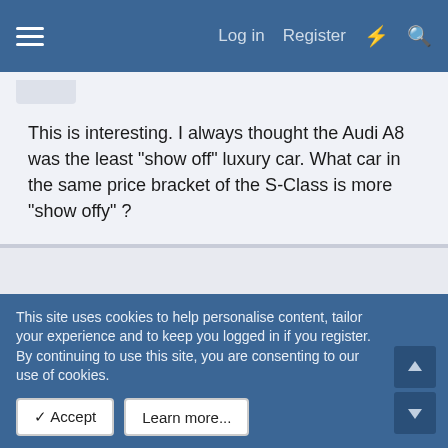Log in  Register
This is interesting. I always thought the Audi A8 was the least "show off" luxury car. What car in the same price bracket of the S-Class is more "show offy" ?
Aug 11, 2003   #10
olikea
Member
I find this subject quite interesting, as I regularly drive a
This site uses cookies to help personalise content, tailor your experience and to keep you logged in if you register.
By continuing to use this site, you are consenting to our use of cookies.
Accept  Learn more...